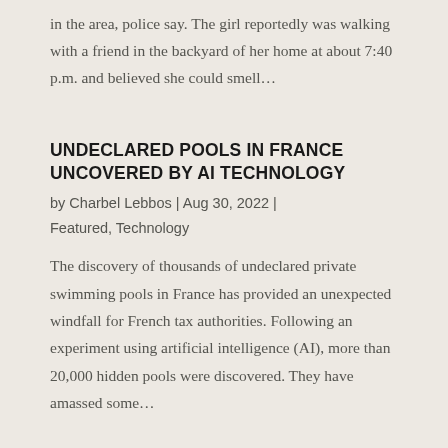in the area, police say. The girl reportedly was walking with a friend in the backyard of her home at about 7:40 p.m. and believed she could smell...
UNDECLARED POOLS IN FRANCE UNCOVERED BY AI TECHNOLOGY
by Charbel Lebbos | Aug 30, 2022 | Featured, Technology
The discovery of thousands of undeclared private swimming pools in France has provided an unexpected windfall for French tax authorities. Following an experiment using artificial intelligence (AI), more than 20,000 hidden pools were discovered. They have amassed some...